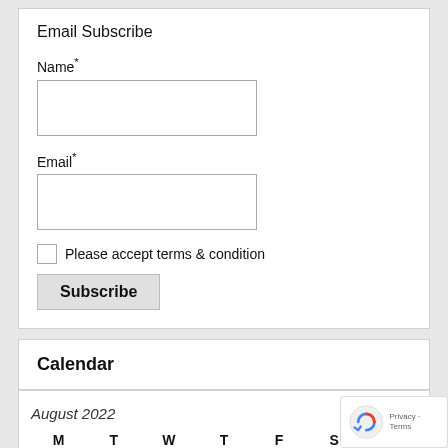Email Subscribe
Name*
Email*
Please accept terms & condition
Subscribe
Calendar
August 2022
| M | T | W | T | F | S | S |
| --- | --- | --- | --- | --- | --- | --- |
| 1 | 2 | 3 | 4 | 5 | 6 | 7 |
| 8 | 9 | 10 | 11 | 12 | 13 | 14 |